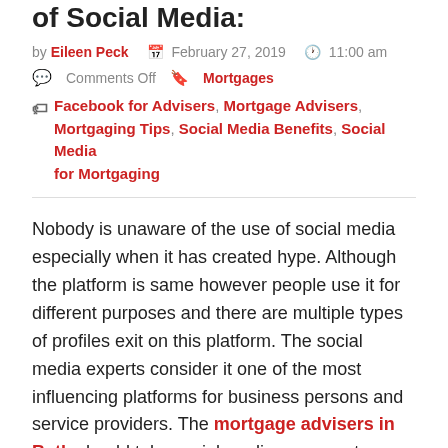of Social Media:
by Eileen Peck  February 27, 2019  11:00 am
Comments Off  Mortgages
Facebook for Advisers, Mortgage Advisers, Mortgaging Tips, Social Media Benefits, Social Media for Mortgaging
Nobody is unaware of the use of social media especially when it has created hype. Although the platform is same however people use it for different purposes and there are multiple types of profiles exit on this platform. The social media experts consider it one of the most influencing platforms for business persons and service providers. The mortgage advisers in Bath should take social media as a great opportunity because it alone can let them deal with hundreds of clients. Well, there are some useful tactics for earning considerable